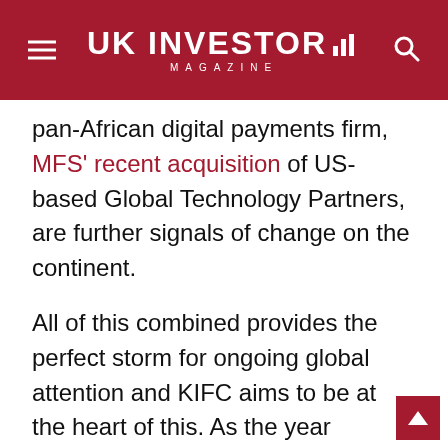UK INVESTOR MAGAZINE
pan-African digital payments firm, MFS' recent acquisition of US-based Global Technology Partners, are further signals of change on the continent.
All of this combined provides the perfect storm for ongoing global attention and KIFC aims to be at the heart of this. As the year continues KIFC will continue to bolster our international financial services to ensure our nation is an attractive proposition for local, regional, and global investors. Our next step is to showcase our efforts to transform Rwanda into an African wide